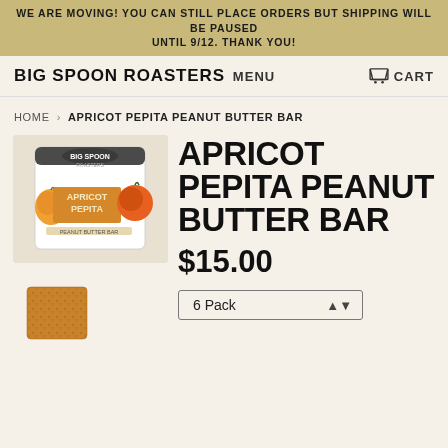WE ARE MOVING! YOU CAN STILL PLACE ORDERS BUT SHIPPING WILL BE PAUSED UNTIL 9/12. THANK YOU!
BIG SPOON ROASTERS  MENU  CART
HOME › APRICOT PEPITA PEANUT BUTTER BAR
[Figure (photo): Product image of Big Spoon Roasters Apricot Pepita peanut butter bar package with apricot and orange illustrations]
[Figure (photo): Small thumbnail photo of an Apricot Pepita peanut butter bar square]
APRICOT PEPITA PEANUT BUTTER BAR
$15.00
6 Pack